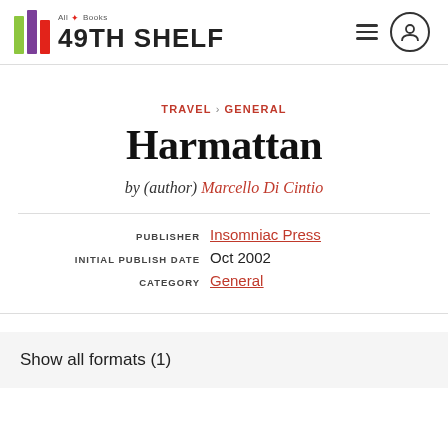[Figure (logo): 49th Shelf logo with colored vertical bars (green, purple, red) and text '49TH SHELF' with 'All Books' tagline and maple leaf]
TRAVEL > GENERAL
Harmattan
by (author) Marcello Di Cintio
PUBLISHER  Insomniac Press
INITIAL PUBLISH DATE  Oct 2002
CATEGORY  General
Show all formats (1)